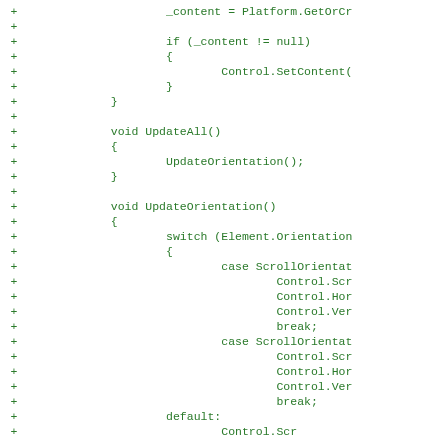[Figure (other): A code diff showing added lines (marked with +) of C++ or C# source code in green monospace font. The code shows a content assignment, null check, UpdateAll(), UpdateOrientation(), and a switch statement on Element.Orientation with ScrollOrientation cases.]